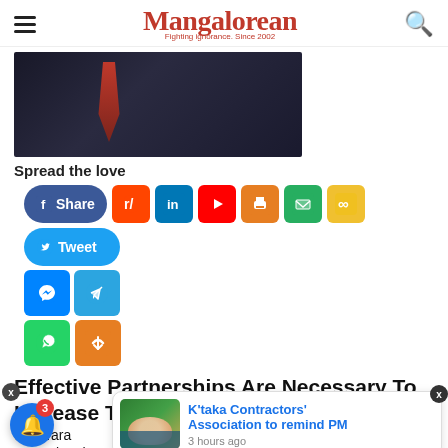Mangalorean — Fighting ignorance. Since 2002
[Figure (photo): Partial photo of a person in a dark suit with a red tie, cropped at chest level]
Spread the love
[Figure (infographic): Social share buttons: Facebook Share, Reddit, LinkedIn, YouTube, Print, Email, Link, Tweet, Messenger, Telegram, WhatsApp, More]
Effective Partnerships Are Necessary To Increase To
d Dr Tara
Control at the International Union Against Tuberculosis and
[Figure (photo): Popup notification card with thumbnail photo of PM Modi and headline: K'taka Contractors' Association to remind PM, 3 hours ago]